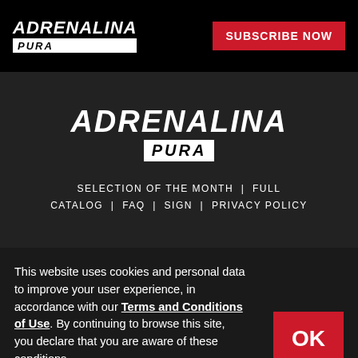[Figure (logo): Adrenalina Pura logo in top-left of black navigation bar]
SUBSCRIBE NOW
[Figure (logo): Large Adrenalina Pura logo centered in dark hero section]
SELECTION OF THE MONTH | FULL CATALOG | FAQ | SIGN | PRIVACY POLICY
This website uses cookies and personal data to improve your user experience, in accordance with our Terms and Conditions of Use. By continuing to browse this site, you declare that you are aware of these conditions.
OK